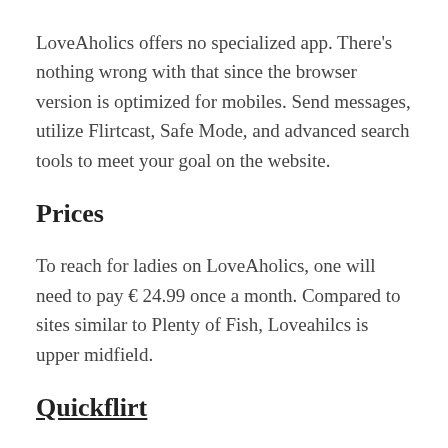LoveAholics offers no specialized app. There's nothing wrong with that since the browser version is optimized for mobiles. Send messages, utilize Flirtcast, Safe Mode, and advanced search tools to meet your goal on the website.
Prices
To reach for ladies on LoveAholics, one will need to pay € 24.99 once a month. Compared to sites similar to Plenty of Fish, Loveahilcs is upper midfield.
Quickflirt